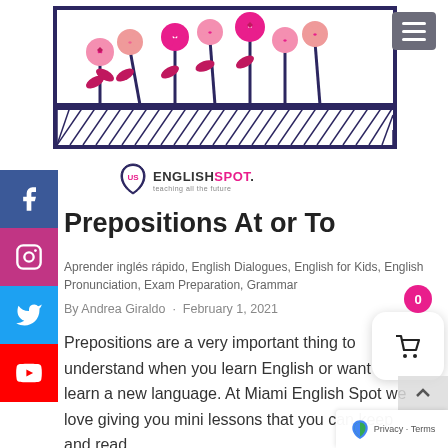[Figure (illustration): Illustration of flowers in a window box / planter with diagonal-striped frame border, pink and magenta flowers with heart centers on dark blue/navy stems]
[Figure (logo): EnglishSpot logo with shield icon and text ENGLISHSPOT. with tagline 'teaching all the future']
Prepositions At or To
Aprender inglés rápido, English Dialogues, English for Kids, English Pronunciation, Exam Preparation, Grammar
By Andrea Giraldo · February 1, 2021
Prepositions are a very important thing to understand when you learn English or want to learn a new language. At Miami English Spot we love giving you mini lessons that you can keep and read